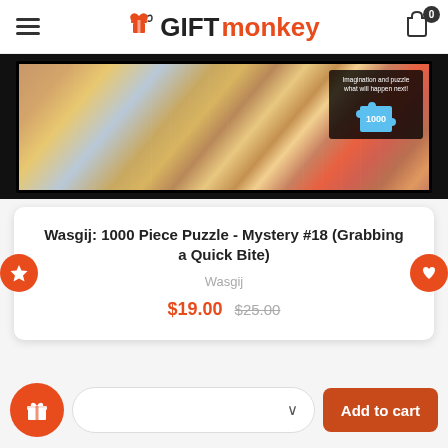GIFTmonkey — navigation header with hamburger menu and cart icon (0 items)
[Figure (photo): Wasgij puzzle box image showing a colourful cartoon café scene with people and pigeons, with a blue puzzle piece graphic showing 1000 pieces and text 'Imagination and puzzle what will happen next!']
Wasgij: 1000 Piece Puzzle - Mystery #18 (Grabbing a Quick Bite)
Wasgij
$19.00  $25.00
Add to cart